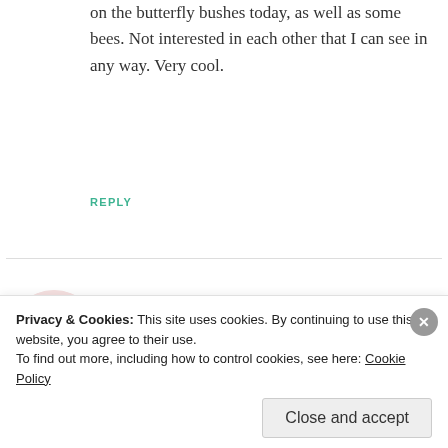on the butterfly bushes today, as well as some bees. Not interested in each other that I can see in any way. Very cool.
REPLY
[Figure (illustration): Cartoon avatar of a red robot-like creature with wings on a pink circle background]
sandra drucker
AUGUST 29, 2010 AT 2:50 PM
We live in Oakdale, NY – part of the south shore
Privacy & Cookies: This site uses cookies. By continuing to use this website, you agree to their use.
To find out more, including how to control cookies, see here: Cookie Policy
Close and accept